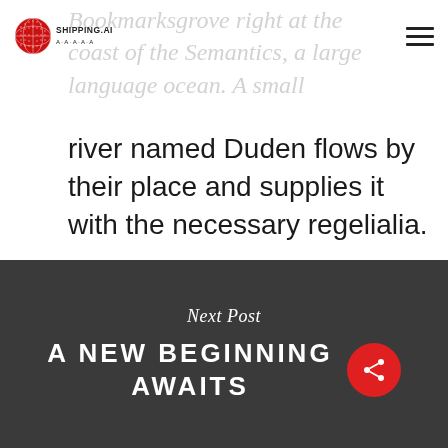SHIPPING.AI
Bookmarksgrove right at the coast of the Semantics, a large language ocean. A small river named Duden flows by their place and supplies it with the necessary regelialia.
Next Post
A New Beginning Awaits